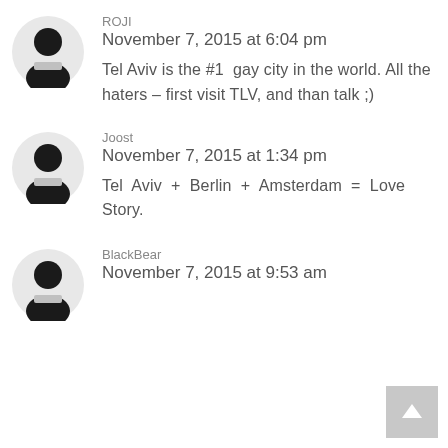[Figure (illustration): Generic grey user avatar icon for ROJI comment]
ROJI
November 7, 2015 at 6:04 pm
Tel Aviv is the #1 gay city in the world. All the haters – first visit TLV, and than talk ;)
[Figure (illustration): Generic grey user avatar icon for Joost comment]
Joost
November 7, 2015 at 1:34 pm
Tel Aviv + Berlin + Amsterdam = Love Story.
[Figure (illustration): Generic grey user avatar icon for BlackBear comment]
BlackBear
November 7, 2015 at 9:53 am